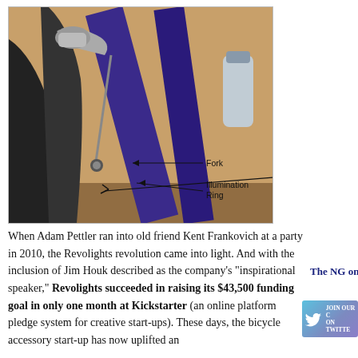[Figure (photo): Close-up photo of a bicycle fork area with annotations. Labels point to 'Fork' and 'Illumination Ring' parts of the bicycle. The bike frame is purple/blue, with visible mechanical components including a brake cable and fork. Background is orange/tan.]
When Adam Pettler ran into old friend Kent Frankovich at a party in 2010, the Revolights revolution came into light. And with the inclusion of Jim Houk described as the company's "inspirational speaker," Revolights succeeded in raising its $43,500 funding goal in only one month at Kickstarter (an online platform pledge system for creative start-ups). These days, the bicycle accessory start-up has now uplifted an
The NG on Fac